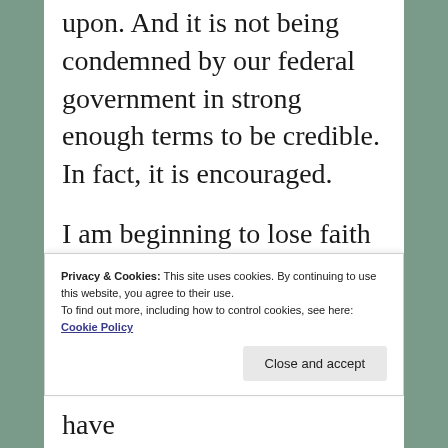upon. And it is not being condemned by our federal government in strong enough terms to be credible. In fact, it is encouraged.
I am beginning to lose faith in people. I no longer feel safe, I no longer believe it could never
Privacy & Cookies: This site uses cookies. By continuing to use this website, you agree to their use.
To find out more, including how to control cookies, see here: Cookie Policy
discrimination and violence have